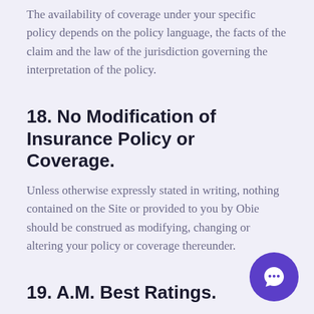The availability of coverage under your specific policy depends on the policy language, the facts of the claim and the law of the jurisdiction governing the interpretation of the policy.
18. No Modification of Insurance Policy or Coverage.
Unless otherwise expressly stated in writing, nothing contained on the Site or provided to you by Obie should be construed as modifying, changing or altering your policy or coverage thereunder.
19. A.M. Best Ratings.
The A.M. Best ratings for insurance companies change